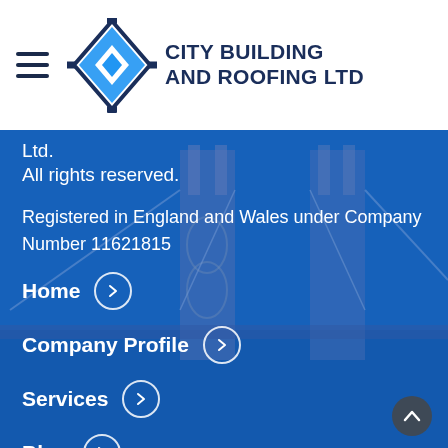City Building and Roofing Ltd
Ltd.
All rights reserved.
Registered in England and Wales under Company Number 11621815
[Figure (illustration): Blurred aerial photo of Tower Bridge in London used as background, tinted blue]
Home
Company Profile
Services
Blog
Portfolio